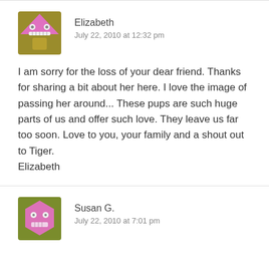[Figure (illustration): Pink cartoon robot/alien avatar with triangular shape, olive/yellow lower body]
Elizabeth
July 22, 2010 at 12:32 pm
I am sorry for the loss of your dear friend. Thanks for sharing a bit about her here. I love the image of passing her around... These pups are such huge parts of us and offer such love. They leave us far too soon. Love to you, your family and a shout out to Tiger.
Elizabeth
[Figure (illustration): Pink hexagonal cartoon character avatar with olive/green lower body]
Susan G.
July 22, 2010 at 7:01 pm